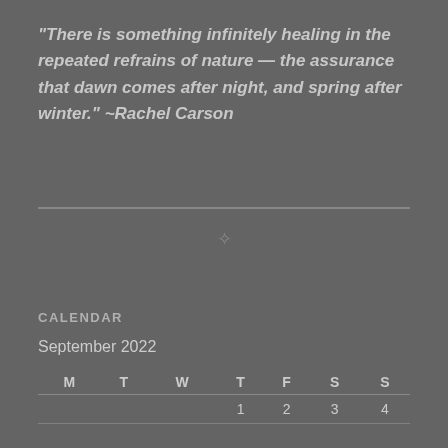“There is something infinitely healing in the repeated refrains of nature — the assurance that dawn comes after night, and spring after winter.” ~Rachel Carson
CALENDAR
September 2022
| M | T | W | T | F | S | S |
| --- | --- | --- | --- | --- | --- | --- |
|  |  |  | 1 | 2 | 3 | 4 |